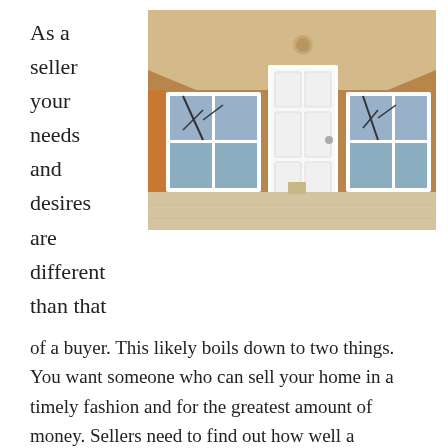As a seller your needs and desires are different than that
[Figure (photo): Exterior photo of a house front porch with an orange/terracotta painted facade, a white front door, two white-framed windows, and a concrete/sandy porch floor. A vaulted ceiling overhang is visible above.]
of a buyer. This likely boils down to two things. You want someone who can sell your home in a timely fashion and for the greatest amount of money. Sellers need to find out how well a potential agent knows their market, and their area. It is also important to understand what methods an agent uses to advertise their listings, how an agent